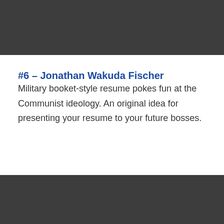#6 – Jonathan Wakuda Fischer
Military booket-style resume pokes fun at the Communist ideology. An original idea for presenting your resume to your future bosses.